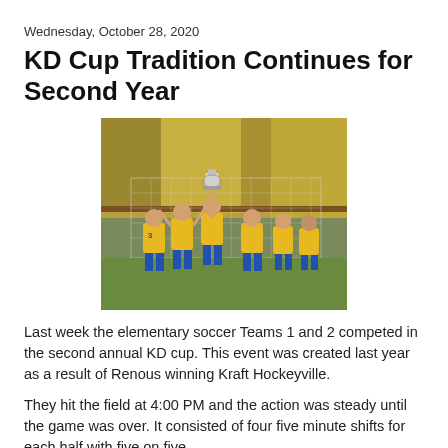Wednesday, October 28, 2020
KD Cup Tradition Continues for Second Year
[Figure (photo): Group of youth soccer players in yellow and blue uniforms celebrating and lifting a trophy together in front of a soccer net, with autumn trees in the background.]
Last week the elementary soccer Teams 1 and 2 competed in the second annual KD cup. This event was created last year as a result of Renous winning Kraft Hockeyville.
They hit the field at 4:00 PM and the action was steady until the game was over. It consisted of four five minute shifts for each half with five on five.